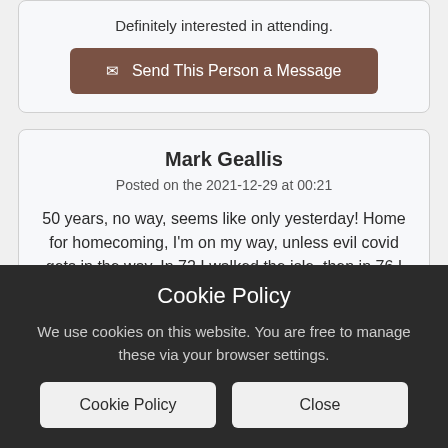Definitely interested in attending.
✉ Send This Person a Message
Mark Geallis
Posted on the 2021-12-29 at 00:21
50 years, no way, seems like only yesterday! Home for homecoming, I'm on my way, unless evil covid gets in the way. In 72 I walked the isle, then in 76 I
Cookie Policy
We use cookies on this website. You are free to manage these via your browser settings.
Cookie Policy
Close